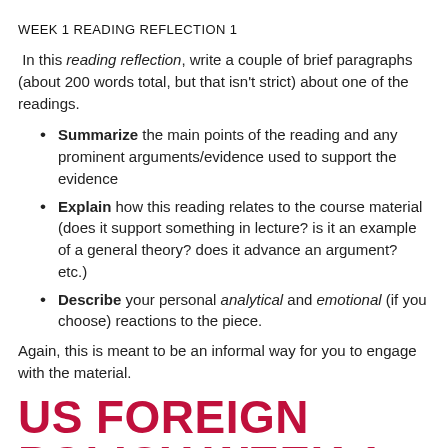WEEK 1 READING REFLECTION 1
In this reading reflection, write a couple of brief paragraphs (about 200 words total, but that isn't strict) about one of the readings.
Summarize the main points of the reading and any prominent arguments/evidence used to support the evidence
Explain how this reading relates to the course material (does it support something in lecture? is it an example of a general theory? does it advance an argument? etc.)
Describe your personal analytical and emotional (if you choose) reactions to the piece.
Again, this is meant to be an informal way for you to engage with the material.
US FOREIGN POLICY WEEK 1